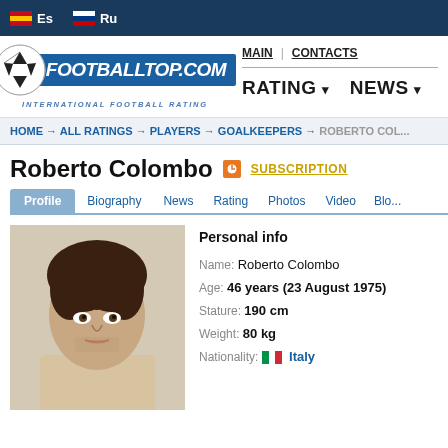Es  Ru
[Figure (logo): Footballtop.com logo with soccer ball and tagline INTERNATIONAL FOOTBALL RATING]
MAIN  CONTACTS  RATING  NEWS
HOME → ALL RATINGS → PLAYERS → GOALKEEPERS → ROBERTO COL...
Roberto Colombo
Profile  Biography  News  Rating  Photos  Video  Blo...
[Figure (photo): Photo of Roberto Colombo, a man with dark hair]
Personal info
Name: Roberto Colombo
Age: 46 years (23 August 1975)
Stature: 190 cm
Weight: 80 kg
Nationality: Italy